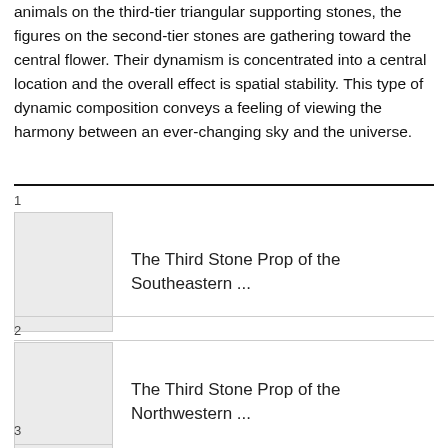animals on the third-tier triangular supporting stones, the figures on the second-tier stones are gathering toward the central flower. Their dynamism is concentrated into a central location and the overall effect is spatial stability. This type of dynamic composition conveys a feeling of viewing the harmony between an ever-changing sky and the universe.
1  The Third Stone Prop of the Southeastern ...
2  The Third Stone Prop of the Northwestern ...
3